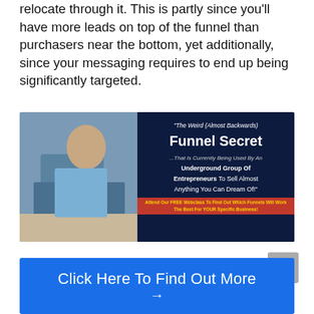relocate through it. This is partly since you'll have more leads on top of the funnel than purchasers near the bottom, yet additionally, since your messaging requires to end up being significantly targeted.
[Figure (illustration): Advertisement banner for 'The Weird (Almost Backwards) Funnel Secret ...That Is Currently Being Used By An Underground Group Of Entrepreneurs To Sell Almost Anything You Can Dream Of!' with a photo of a man writing at a desk on the left and dark blue background with text on the right.]
[Figure (infographic): Blue call-to-action button reading 'Click Here To Find Out More' with a right arrow below.]